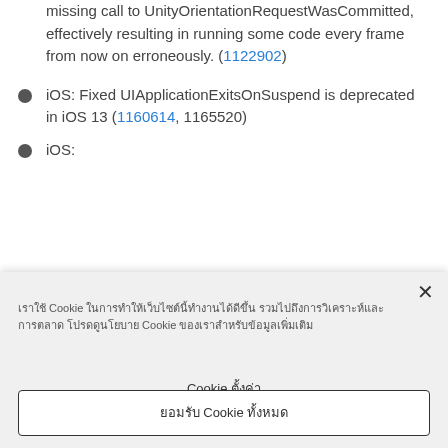missing call to UnityOrientationRequestWasCommitted, effectively resulting in running some code every frame from now on erroneously. (1122902)
iOS: Fixed UIApplicationExitsOnSuspend is deprecated in iOS 13 (1160614, 1165520)
iOS:
Cookie banner with Thai text about cookie settings and accept button